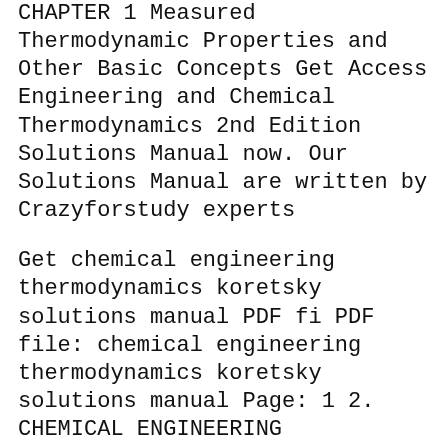CHAPTER 1 Measured Thermodynamic Properties and Other Basic Concepts Get Access Engineering and Chemical Thermodynamics 2nd Edition Solutions Manual now. Our Solutions Manual are written by Crazyforstudy experts
Get chemical engineering thermodynamics koretsky solutions manual PDF fi PDF file: chemical engineering thermodynamics koretsky solutions manual Page: 1 2. CHEMICAL ENGINEERING THERMODYNAMICS KORETSKY SOLUTIONS MANUAL This eBook discuss about the subject of CHEMICAL ENGINEERING THERMODYNAMICS KORETSKY SOLUTIONS MANUAL, along with the вЂ¦